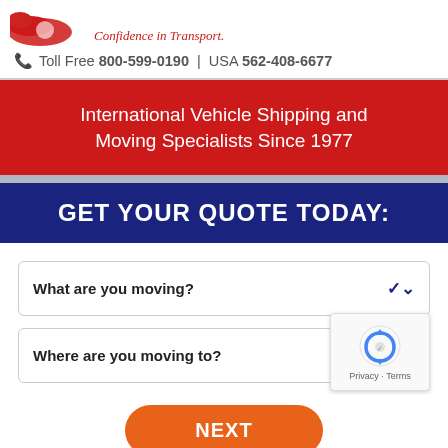[Figure (logo): Partial red swoosh logo with italic tagline 'Confidence in Transport.']
Toll Free 800-599-0190 | USA 562-408-6677
International Vehicle Shipping and Moving Specialists Since 1977
GET YOUR QUOTE TODAY:
What are you moving?
Where are you moving to?
NEXT